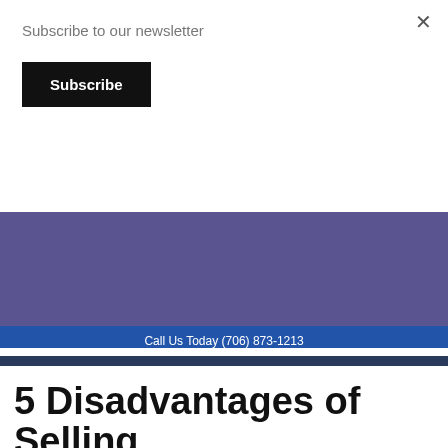Subscribe to our newsletter
Subscribe
[Figure (screenshot): Purple background section with email input field and red SUBMIT button with arrow]
SUBMIT →
Call Us Today (706) 873-1213
[Figure (photo): Dark blue tinted photo of mobile homes exterior with HAS Holdings LLC logo overlay]
HAS Holdings LLC
We Buy Mobile Homes CASH Offer!
5 Disadvantages of Selling Your House in Augusta To...